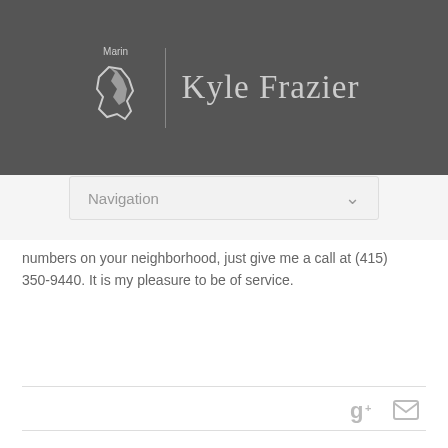Marin Kyle Frazier
[Figure (screenshot): Navigation dropdown bar with 'Navigation' label and chevron arrow]
numbers on your neighborhood, just give me a call at (415) 350-9440. It is my pleasure to be of service.
[Figure (other): Social media icons: Google+ and email/envelope icons]